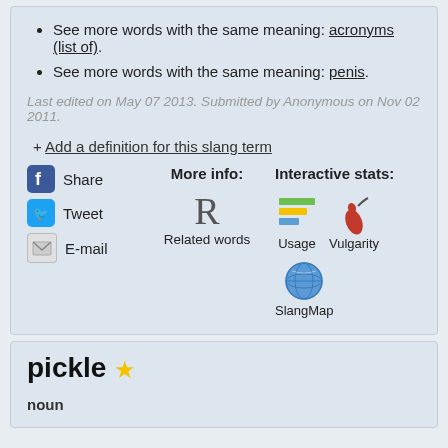See more words with the same meaning: acronyms (list of).
See more words with the same meaning: penis.
Last edited on May 07 2013. Submitted by Anonymous on Nov 02 2011.
+ Add a definition for this slang term
[Figure (infographic): Social sharing buttons (Facebook Share, Tweet, E-mail), More info section with R Related words, Interactive stats section with Usage bar chart icon, Vulgarity chili icon, and SlangMap globe icon]
pickle
noun